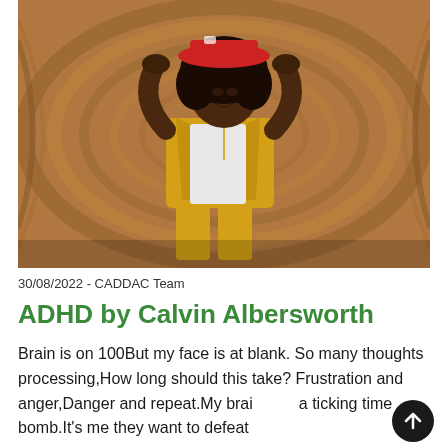[Figure (photo): A young Black man wearing a red bucket hat, yellow jacket, white t-shirt, and yellow trousers, standing against a curved wooden wall background with arms raised adjusting his hat.]
30/08/2022 - CADDAC Team
ADHD by Calvin Albersworth
Brain is on 100But my face is at blank. So many thoughts processing,How long should this take? Frustration and anger,Danger and repeat.My brain a ticking time bomb.It's me they want to defeat